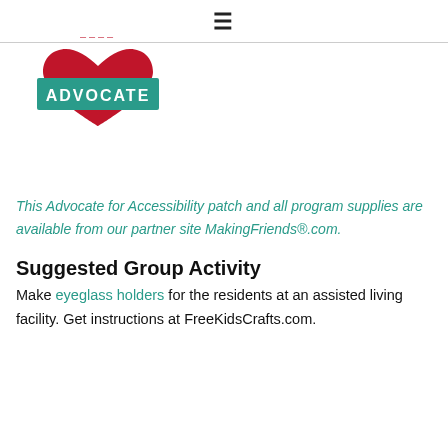≡
[Figure (logo): Advocate for Accessibility logo: red heart shape with teal banner reading ADVOCATE in white bold letters, and small red text above the heart]
This Advocate for Accessibility patch and all program supplies are available from our partner site MakingFriends®.com.
Suggested Group Activity
Make eyeglass holders for the residents at an assisted living facility. Get instructions at FreeKidsCrafts.com.